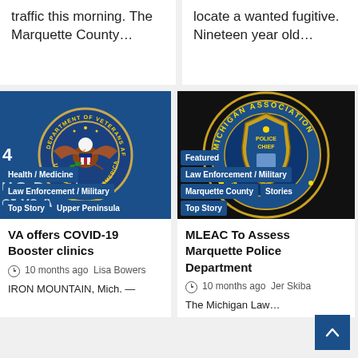traffic this morning. The Marquette County…
locate a wanted fugitive. Nineteen year old…
[Figure (logo): Department of Veterans Affairs seal on blue background with overlaid tags: Health/Medicine, Law Enforcement/Military, Top Story, Upper Peninsula]
VA offers COVID-19 Booster clinics
10 months ago  Lisa Bowers
IRON MOUNTAIN, Mich. —
[Figure (logo): Michigan Association of Police Chiefs badge logo on dark background with overlaid tags: Featured, Law Enforcement/Military, Marquette County, Stories, Top Story]
MLEAC To Assess Marquette Police Department
10 months ago  Jer Skiba
The Michigan Law…